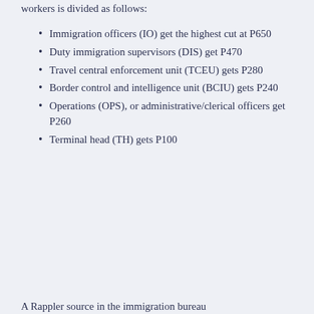workers is divided as follows:
Immigration officers (IO) get the highest cut at P650
Duty immigration supervisors (DIS) get P470
Travel central enforcement unit (TCEU) gets P280
Border control and intelligence unit (BCIU) gets P240
Operations (OPS), or administrative/clerical officers get P260
Terminal head (TH) gets P100
A Rappler source in the immigration bureau